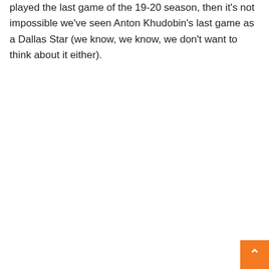played the last game of the 19-20 season, then it's not impossible we've seen Anton Khudobin's last game as a Dallas Star (we know, we know, we don't want to think about it either).